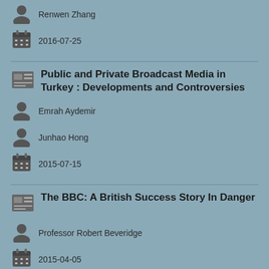Renwen Zhang · 2016-07-25
Public and Private Broadcast Media in Turkey : Developments and Controversies · Emrah Aydemir · Junhao Hong · 2015-07-15
The BBC: A British Success Story In Danger · Professor Robert Beveridge · 2015-04-05
Renewing the BBC Royal Charter: A cause for concern?